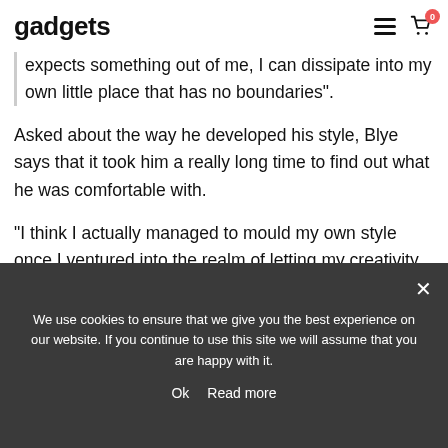gadgets
expects something out of me, I can dissipate into my own little place that has no boundaries”.
Asked about the way he developed his style, Blye says that it took him a really long time to find out what he was comfortable with.
“I think I actually managed to mould my own style once I ventured into the realm of letting my creativity come out,
We use cookies to ensure that we give you the best experience on our website. If you continue to use this site we will assume that you are happy with it.
Ok   Read more